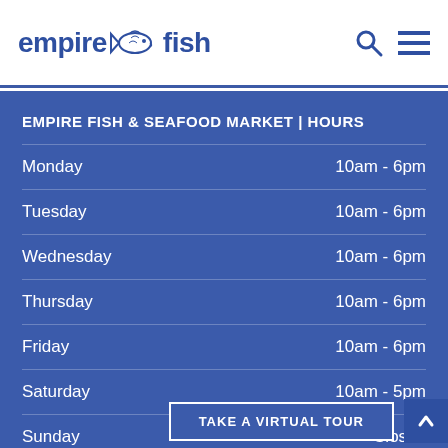empire fish
EMPIRE FISH & SEAFOOD MARKET | HOURS
| Day | Hours |
| --- | --- |
| Monday | 10am - 6pm |
| Tuesday | 10am - 6pm |
| Wednesday | 10am - 6pm |
| Thursday | 10am - 6pm |
| Friday | 10am - 6pm |
| Saturday | 10am - 5pm |
| Sunday | Closed |